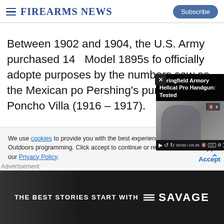Firearms News — Subscribe
Between 1902 and 1904, the U.S. Army purchased 140 Model 1895s fo... officially adopte... purposes by the... numbers saw se... the Mexican po... Pershing's pursuit of Poncho Villa (1916 – 1917).
[Figure (screenshot): Video popup overlay titled 'Springfield Armory Hellcat Pro Handgun: Tested' showing a person shooting a handgun, with video controls showing 00:00 / 04:26]
We use cookies to provide you with the best experience in Outdoors programming. Click accept to continue or read about our Privacy Policy.
Advertisement
[Figure (photo): Advertisement banner: THE BEST STORIES START WITH SAVAGE (with Savage Arms logo)]